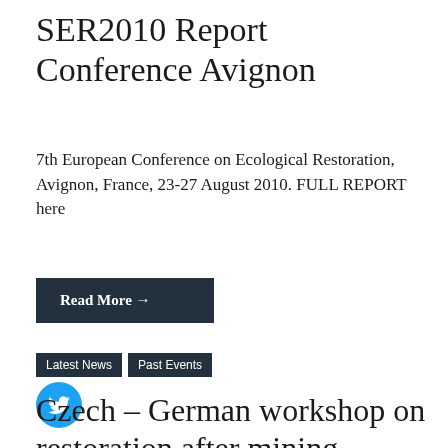SER2010 Report Conference Avignon
7th European Conference on Ecological Restoration, Avignon, France, 23-27 August 2010. FULL REPORT here
Read More →
Share:
[Figure (logo): Twitter bird icon, circular blue button]
Latest News
Past Events
Czech – German workshop on restoration after mining activities